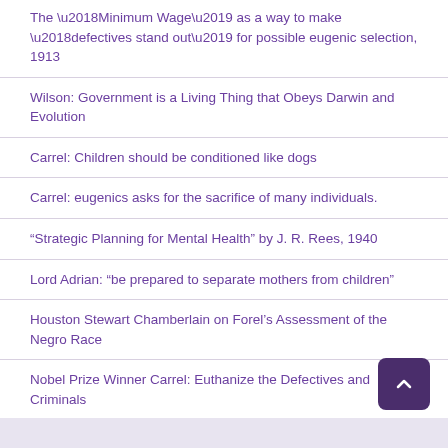The ‘Minimum Wage’ as a way to make ‘defectives stand out’ for possible eugenic selection, 1913
Wilson: Government is a Living Thing that Obeys Darwin and Evolution
Carrel: Children should be conditioned like dogs
Carrel: eugenics asks for the sacrifice of many individuals.
“Strategic Planning for Mental Health” by J. R. Rees, 1940
Lord Adrian: “be prepared to separate mothers from children”
Houston Stewart Chamberlain on Forel’s Assessment of the Negro Race
Nobel Prize Winner Carrel: Euthanize the Defectives and Criminals